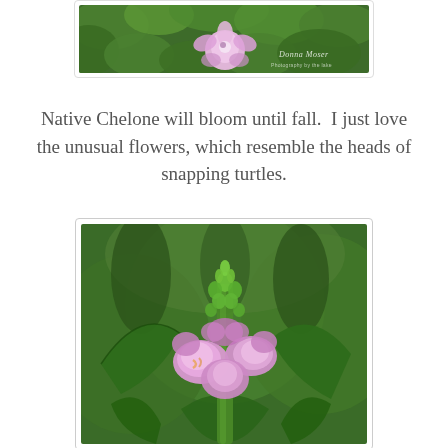[Figure (photo): Partial view of a pink flower with green foliage background, with a watermark/signature in the lower right corner.]
Native Chelone will bloom until fall.  I just love the unusual flowers, which resemble the heads of snapping turtles.
[Figure (photo): Close-up photograph of a Chelone (turtlehead) plant with pink tubular flowers open in the middle of the stalk and green buds at the top, surrounded by broad serrated green leaves, with a blurred green background.]